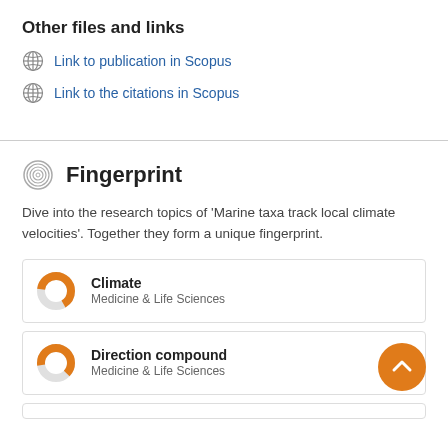Other files and links
Link to publication in Scopus
Link to the citations in Scopus
Fingerprint
Dive into the research topics of 'Marine taxa track local climate velocities'. Together they form a unique fingerprint.
[Figure (donut-chart): Donut chart icon for Climate topic, partially filled orange, representing relevance score]
[Figure (donut-chart): Donut chart icon for Direction compound topic, partially filled orange, representing relevance score]